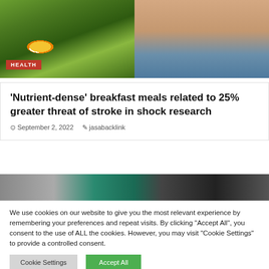[Figure (photo): Left half: salad bowl with greens, boiled egg, vegetables. Right half: close-up of elderly man's face in blue jacket.]
'Nutrient-dense' breakfast meals related to 25% greater threat of stroke in shock research
September 2, 2022   jasabacklink
[Figure (screenshot): Partial screenshot of a webpage with dark background and teal/green element visible.]
We use cookies on our website to give you the most relevant experience by remembering your preferences and repeat visits. By clicking "Accept All", you consent to the use of ALL the cookies. However, you may visit "Cookie Settings" to provide a controlled consent.